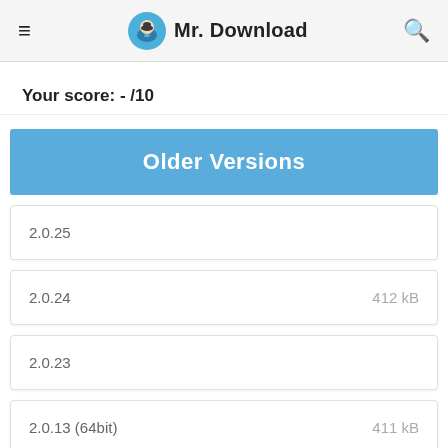Mr. Download
Your score: - /10
Older Versions
2.0.25
2.0.24   412 kB
2.0.23
2.0.13 (64bit)   411 kB